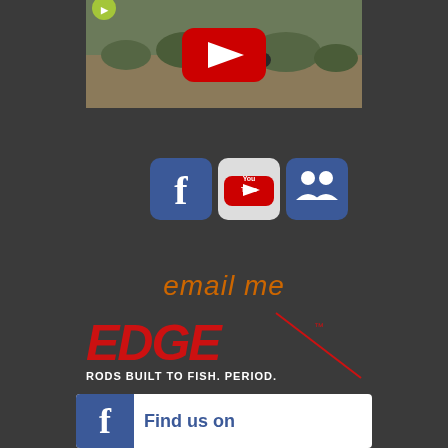[Figure (screenshot): YouTube video thumbnail showing outdoor hunting/wildlife scene with YouTube play button overlay]
[Figure (infographic): Row of three social media icons: Facebook (blue f), YouTube (white/red), and a third social network (blue with people icons)]
email me
[Figure (logo): EDGE fishing rods logo in red with text 'RODS BUILT TO FISH. PERIOD.' and fish/rod imagery]
[Figure (infographic): Facebook 'Find us on Facebook' banner with blue Facebook icon on left and blue text on white background]